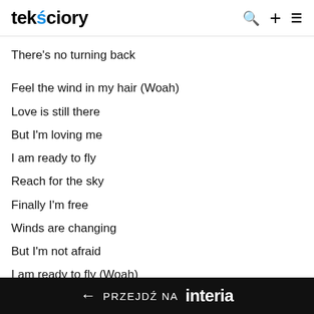tekściory
There's no turning back
Feel the wind in my hair (Woah)
Love is still there
But I'm loving me
I am ready to fly
Reach for the sky
Finally I'm free
Winds are changing
But I'm not afraid
I am ready to fly (Woah)
Reach for the sky
← PRZEJDŹ NA interia